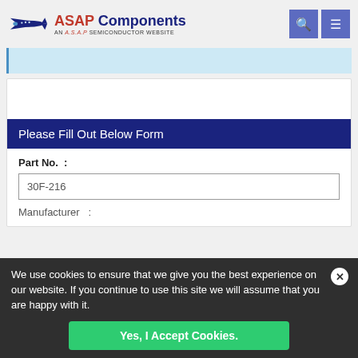[Figure (logo): ASAP Components logo with airplane silhouette and 'AN A.S.A.P SEMICONDUCTOR WEBSITE' tagline]
Please Fill Out Below Form
Part No.  :
30F-216
Manufacturer  :
We use cookies to ensure that we give you the best experience on our website. If you continue to use this site we will assume that you are happy with it.
Yes, I Accept Cookies.